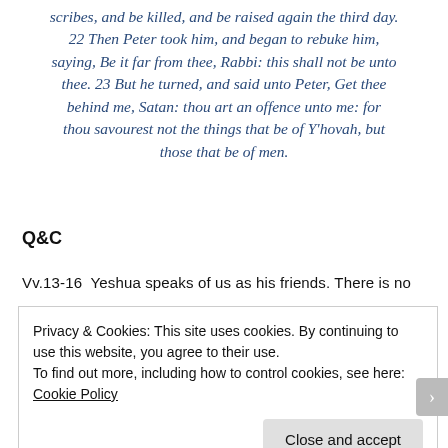scribes, and be killed, and be raised again the third day. 22 Then Peter took him, and began to rebuke him, saying, Be it far from thee, Rabbi: this shall not be unto thee. 23 But he turned, and said unto Peter, Get thee behind me, Satan: thou art an offence unto me: for thou savourest not the things that be of Y'hovah, but those that be of men.
Q&C
Vv.13-16  Yeshua speaks of us as his friends. There is no
Privacy & Cookies: This site uses cookies. By continuing to use this website, you agree to their use.
To find out more, including how to control cookies, see here: Cookie Policy